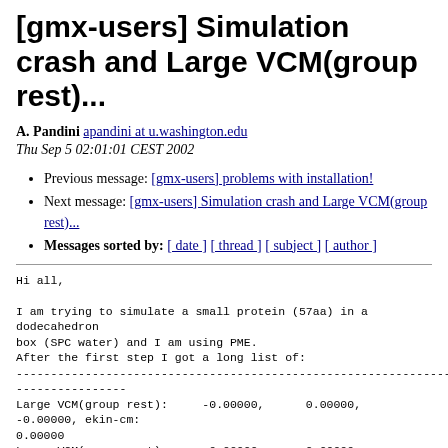[gmx-users] Simulation crash and Large VCM(group rest)...
A. Pandini apandini at u.washington.edu
Thu Sep 5 02:01:01 CEST 2002
Previous message: [gmx-users] problems with installation!
Next message: [gmx-users] Simulation crash and Large VCM(group rest)...
Messages sorted by: [ date ] [ thread ] [ subject ] [ author ]
Hi all,

I am trying to simulate a small protein (57aa) in a dodecahedron
box (SPC water) and I am using PME.
After the first step I got a long list of:
------------------------------------------------------------------------
----------------
Large VCM(group rest):     -0.00000,      0.00000,
-0.00000, ekin-cm:
0.00000
Large VCM(group rest):     -0.00000,      0.00000,
-0.00000, ekin-cm: